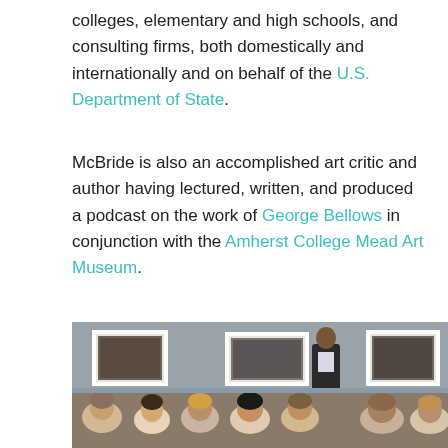colleges, elementary and high schools, and consulting firms, both domestically and internationally and on behalf of the U.S. Department of State.
McBride is also an accomplished art critic and author having lectured, written, and produced a podcast on the work of George Bellows in conjunction with the Amherst College Mead Art Museum.
[Figure (photo): A man in a dark suit stands in front of a gallery wall with three framed black-and-white artworks, presenting to an audience of students seated with their backs to the camera.]